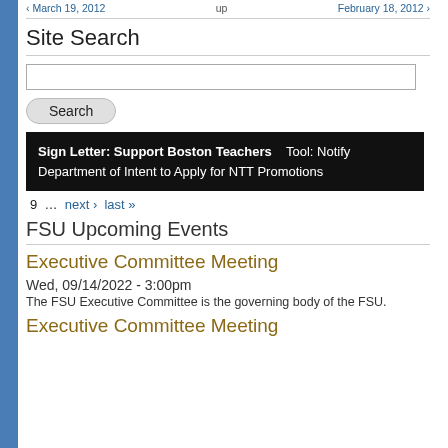< March 19, 2012   up   February 18, 2012 >
Site Search
[search input box]
Search
[Figure (screenshot): Black banner with white text: 'Sign Letter: Support Boston Teachers' and 'Tool: Notify Department of Intent to Apply for NTT Promotions']
9 … next › last »
FSU Upcoming Events
Executive Committee Meeting
Wed, 09/14/2022 - 3:00pm
The FSU Executive Committee is the governing body of the FSU.
Executive Committee Meeting